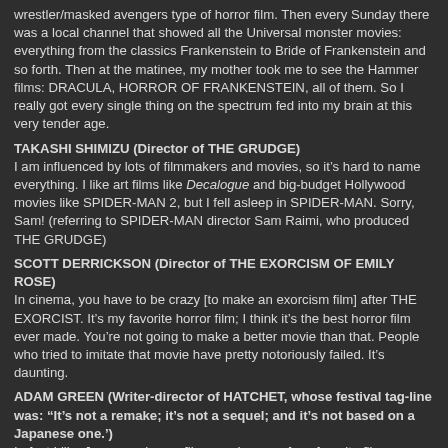wrestler/masked avengers type of horror film. Then every Sunday there was a local channel that showed all the Universal monster movies: everything from the classics Frankenstein to Bride of Frankenstein and so forth. Then at the matinee, my mother took me to see the Hammer films: DRACULA, HORROR OF FRANKENSTEIN, all of them. So I really got every single thing on the spectrum fed into my brain at this very tender age.
TAKASHI SHIMIZU (Director of THE GRUDGE)
I am influenced by lots of filmmakers and movies, so it's hard to name everything. I like art films like Decalogue and big-budget Hollywood movies like SPIDER-MAN 2, but I fell asleep in SPIDER-MAN. Sorry, Sam! (referring to SPIDER-MAN director Sam Raimi, who produced THE GRUDGE)
SCOTT DERRICKSON (Director of THE EXORCISM OF EMILY ROSE)
In cinema, you have to be crazy [to make an exorcism film] after THE EXORCIST. It's my favorite horror film; I think it's the best horror film ever made. You're not going to make a better movie than that. People who tried to imitate that movie have pretty notoriously failed. It's daunting.
ADAM GREEN (Writer-director of HATCHET, whose festival tag-line was: “It's not a remake; it's not a sequel; and it's not based on a Japanese one.')
In fact I like Japanese horror films, and some of my favorite films are remakes. John Carpenter's THE THING is my Top Five of all time, and I love THE TEXAS CHAINSAW MASSACRE [remake]…